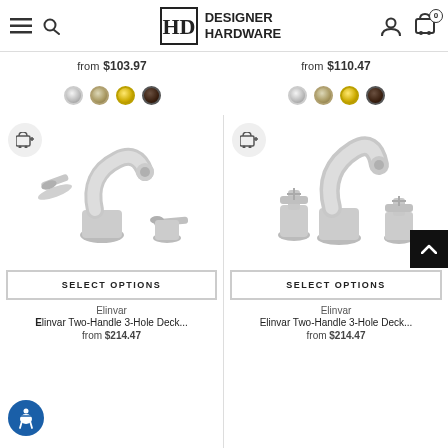Designer Hardware
from $103.97
from $110.47
[Figure (photo): Chrome bathroom faucet with two lever handles, 3-hole deck mount]
[Figure (photo): Chrome bathroom faucet with two cross handles, 3-hole deck mount]
SELECT OPTIONS
SELECT OPTIONS
Elinvar
Elinvar
Elinvar Two-Handle 3-Hole Deck...
Elinvar Two-Handle 3-Hole Deck...
from $214.47
from $214.47